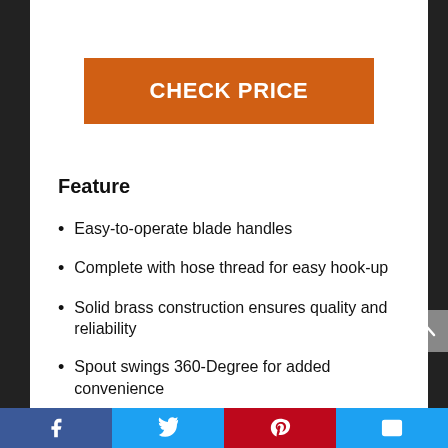CHECK PRICE
Feature
Easy-to-operate blade handles
Complete with hose thread for easy hook-up
Solid brass construction ensures quality and reliability
Spout swings 360-Degree for added convenience
Social share bar: Facebook, Twitter, Pinterest, Email